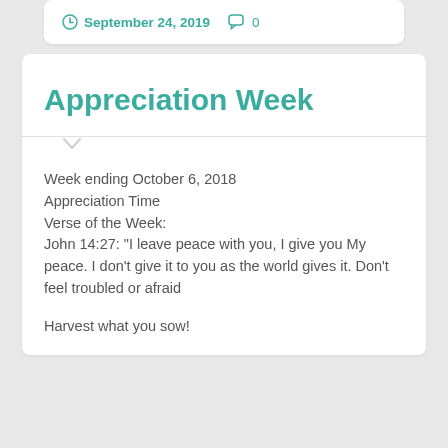September 24, 2019   0
Appreciation Week
Week ending October 6, 2018
Appreciation Time
Verse of the Week:
John 14:27: "I leave peace with you, I give you My peace. I don't give it to you as the world gives it. Don't feel troubled or afraid
Harvest what you sow!